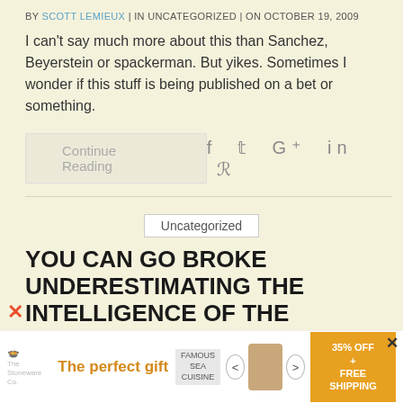BY SCOTT LEMIEUX  |  IN UNCATEGORIZED  |  ON OCTOBER 19, 2009
I can't say much more about this than Sanchez, Beyerstein or spackerman. But yikes. Sometimes I wonder if this stuff is being published on a bet or something.
Continue Reading
Uncategorized
YOU CAN GO BROKE UNDERESTIMATING THE INTELLIGENCE OF THE AMERICAN PUBLIC
BY SCOTT LEMIEUX  |  ON OCTOBER 7, 2009
Seymard Darby recently noted that "[f]ew movies released in
[Figure (photo): Advertisement banner at bottom: The perfect gift with food bowl image, navigation arrows, 35% OFF + FREE SHIPPING promo block]